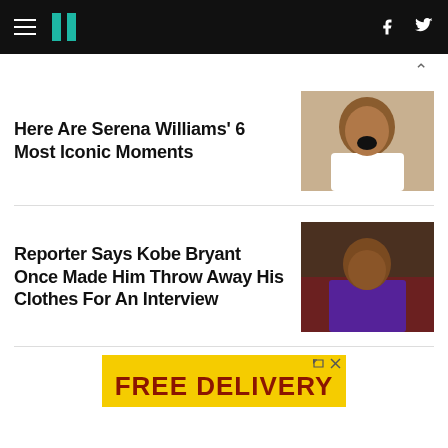HuffPost navigation header with hamburger menu, logo, Facebook and Twitter icons
Here Are Serena Williams' 6 Most Iconic Moments
[Figure (photo): Serena Williams in white athletic wear, mouth open, celebrating or reacting intensely]
Reporter Says Kobe Bryant Once Made Him Throw Away His Clothes For An Interview
[Figure (photo): Kobe Bryant in Los Angeles Lakers purple and gold jersey, leaning forward with intense expression]
[Figure (other): Advertisement banner showing FREE DELIVERY text on yellow background with food image]